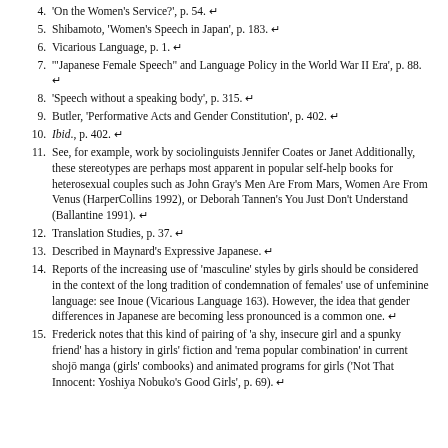4. 'On the Women's Service?', p. 54. ↩
5. Shibamoto, 'Women's Speech in Japan', p. 183. ↩
6. Vicarious Language, p. 1. ↩
7. '"Japanese Female Speech" and Language Policy in the World War II Era', p. 88. ↩
8. 'Speech without a speaking body', p. 315. ↩
9. Butler, 'Performative Acts and Gender Constitution', p. 402. ↩
10. Ibid., p. 402. ↩
11. See, for example, work by sociolinguists Jennifer Coates or Janet Additionally, these stereotypes are perhaps most apparent in popular self-help books for heterosexual couples such as John Gray's Men Are From Mars, Women Are From Venus (HarperCollins 1992), or Deborah Tannen's You Just Don't Understand (Ballantine 1991). ↩
12. Translation Studies, p. 37. ↩
13. Described in Maynard's Expressive Japanese. ↩
14. Reports of the increasing use of 'masculine' styles by girls should be considered in the context of the long tradition of condemnation of females' use of unfeminine language: see Inoue (Vicarious Language 163). However, the idea that gender differences in Japanese are becoming less pronounced is a common one. ↩
15. Frederick notes that this kind of pairing of 'a shy, insecure girl and a spunky friend' has a history in girls' fiction and 'remains a popular combination' in current shojō manga (girls' comics books) and animated programs for girls ('Not That Innocent: Yoshiya Nobuko's Good Girls', p. 69). ↩